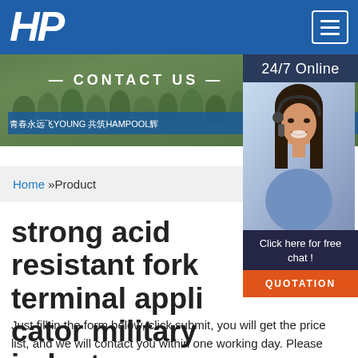[Figure (logo): HP company logo in white italic bold font on blue header bar with hamburger menu button]
[Figure (photo): Banner photo showing a group of people outdoors with text CONTACT US overlaid, and Chinese text 青春永远飞YOUNG 共筑HAMPOOL辉]
[Figure (photo): Right sidebar showing 24/7 Online text, photo of woman with headset, Click here for free chat text, and QUOTATION orange button]
Home »Product
strong acid resistant fork terminal applicator military industry
Just fill in the form below, click submit, you will get the price list, and we will contact you within one working day. Please also feel free to contact us via email or phone. (*